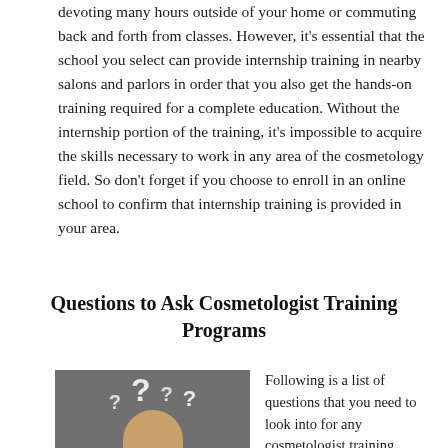devoting many hours outside of your home or commuting back and forth from classes. However, it's essential that the school you select can provide internship training in nearby salons and parlors in order that you also get the hands-on training required for a complete education. Without the internship portion of the training, it's impossible to acquire the skills necessary to work in any area of the cosmetology field. So don't forget if you choose to enroll in an online school to confirm that internship training is provided in your area.
Questions to Ask Cosmetologist Training Programs
[Figure (photo): A woman with long blonde hair surrounded by large white question marks on a grey background]
Following is a list of questions that you need to look into for any cosmetologist training school you are considering. As we have previously covered